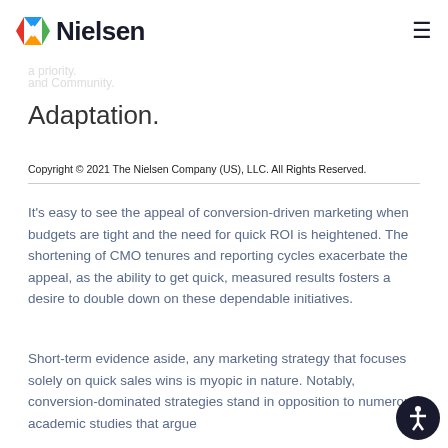Nielsen
Adaptation.
Copyright © 2021 The Nielsen Company (US), LLC. All Rights Reserved.
It's easy to see the appeal of conversion-driven marketing when budgets are tight and the need for quick ROI is heightened. The shortening of CMO tenures and reporting cycles exacerbate the appeal, as the ability to get quick, measured results fosters a desire to double down on these dependable initiatives.
Short-term evidence aside, any marketing strategy that focuses solely on quick sales wins is myopic in nature. Notably, conversion-dominated strategies stand in opposition to numerous academic studies that argue